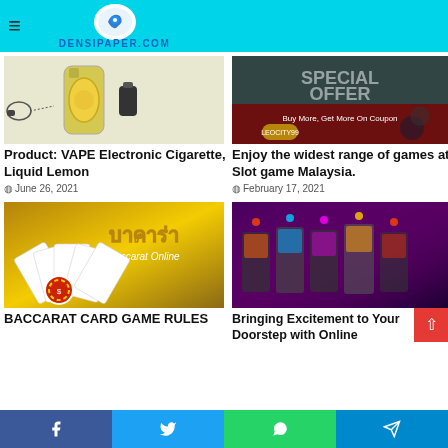DENSIPAPER.COM
[Figure (photo): VAPE Electronic Cigarette product image with yellow lemon liquid bottle]
Product: VAPE Electronic Cigarette, Liquid Lemon
June 26, 2021
[Figure (photo): Special Offer casino coupon promotional image with playing cards]
Enjoy the widest range of games at Slot game Malaysia.
February 17, 2021
[Figure (photo): Baccarat Online card game promotional image with Thai text บาคาร่า]
BACCARAT CARD GAME RULES
[Figure (photo): Casino slot machines interior photo with colorful lights]
Bringing Excitement to Your Doorstep with Online